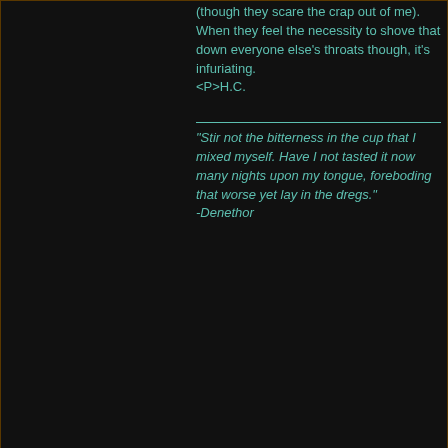(though they scare the crap out of me). When they feel the necessity to shove that down everyone else's throats though, it's infuriating.
<P>H.C.

"Stir not the bitterness in the cup that I mixed myself. Have I not tasted it now many nights upon my tongue, foreboding that worse yet lay in the dregs."
-Denethor
02-14-2003, 04:32 PM
#32
Rumil
Sage & Onions
[Figure (photo): User avatar showing a building exterior in black and white]
Join Date: Aug 2002
Location: Britain
Posts: 893
[Figure (illustration): Sauron's eye avatar icon - orange/red glowing eye on dark background]
There are of course many parallels between Tolkien's works and religion. In particular, Christianity and worship of Morgoth.
<P>When Sauron was on Numenor, he built a temple, which was viewed as a heinous act. Who builds